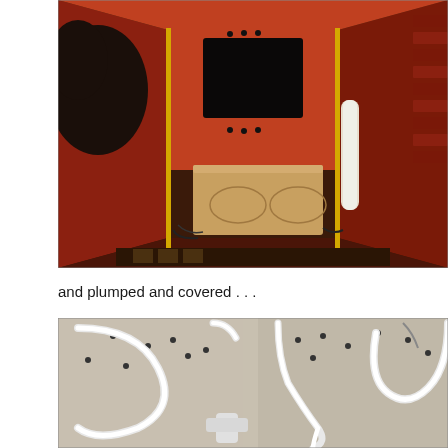[Figure (photo): Interior view of a red-walled acoustic/anechoic chamber or booth looking downward. The walls and floor are covered with red acoustic foam or fabric panels. A square wooden box sits at the bottom of the chamber, with wiring and cables around it. A white cylindrical tube/rod is visible along the right side. A dark window opening appears near the top center. Acoustic foam wedges are visible on the right wall.]
and plumped and covered . . .
[Figure (photo): Interior view of a chamber or cavity showing white plastic tubing/hoses routed in curved paths along the walls. Multiple screws or fasteners are visible in the gray/beige walls. A gray cylindrical post or column is visible on the right side. A white T-fitting or connector is visible at the bottom center. Various cables or wires are also present.]